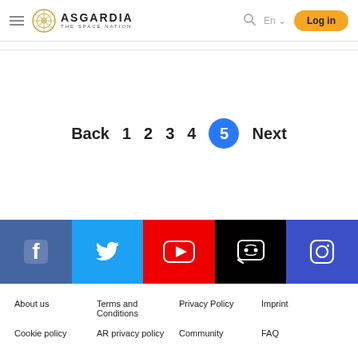Asgardia The Space Nation — En — Log in
Back  1  2  3  4  5  Next
[Figure (infographic): Social media icons bar: Facebook (blue-grey), Twitter (blue), YouTube (red), Discord (black), Instagram (blue-purple)]
About us    Terms and Conditions    Privacy Policy    Imprint
Cookie policy    AR privacy policy    Community    FAQ